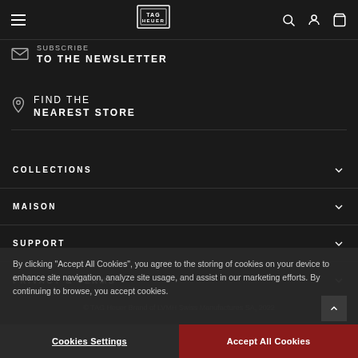TAG Heuer navigation bar with hamburger menu, logo, search, account, and cart icons
SUBSCRIBE TO THE NEWSLETTER
FIND THE NEAREST STORE
COLLECTIONS
MAISON
SUPPORT
PRIVACY & TERMS
By clicking "Accept All Cookies", you agree to the storing of cookies on your device to enhance site navigation, analyze site usage, and assist in our marketing efforts. By continuing to browse, you accept cookies.
© TAG Heuer Brand of LVMH Swiss Manufactures SA, 2022
Cookies Settings | Accept All Cookies